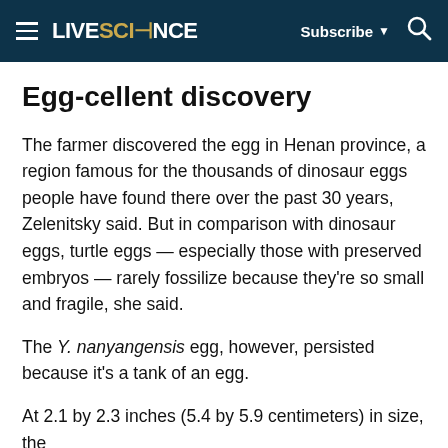LIVESCIENCE — Subscribe — Search
Egg-cellent discovery
The farmer discovered the egg in Henan province, a region famous for the thousands of dinosaur eggs people have found there over the past 30 years, Zelenitsky said. But in comparison with dinosaur eggs, turtle eggs — especially those with preserved embryos — rarely fossilize because they're so small and fragile, she said.
The Y. nanyangensis egg, however, persisted because it's a tank of an egg.
At 2.1 by 2.3 inches (5.4 by 5.9 centimeters) in size, the